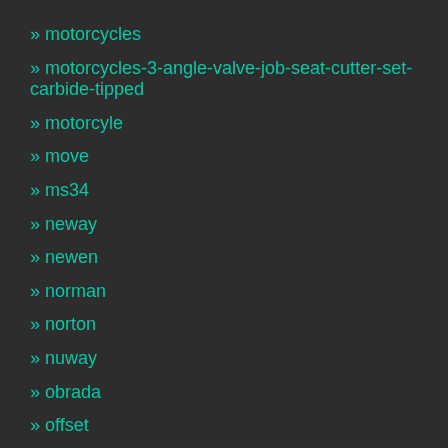» motorcycles
» motorcycles-3-angle-valve-job-seat-cutter-set-carbide-tipped
» motorcyle
» move
» ms34
» neway
» newen
» norman
» norton
» nuway
» obrada
» offset
» ohanee
» olympian